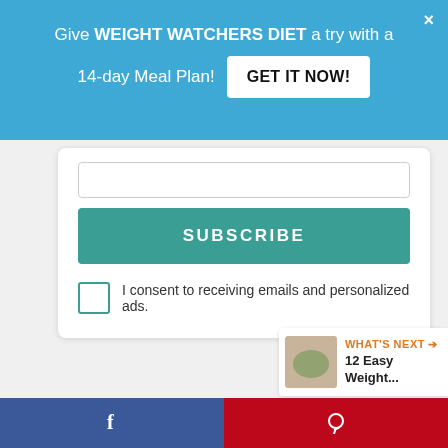Give WEIGHT WATCHERS DIET a try with a 14-day Meal Plan! GET IT NOW!
SUBSCRIBE
I consent to receiving emails and personalized ads.
137
WHAT'S NEXT → 12 Easy Weight...